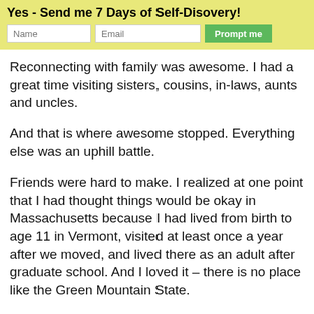Yes - Send me 7 Days of Self-Disovery!
Reconnecting with family was awesome. I had a great time visiting sisters, cousins, in-laws, aunts and uncles.
And that is where awesome stopped. Everything else was an uphill battle.
Friends were hard to make. I realized at one point that I had thought things would be okay in Massachusetts because I had lived from birth to age 11 in Vermont, visited at least once a year after we moved, and lived there as an adult after graduate school. And I loved it – there is no place like the Green Mountain State.
At the playground one morning, another mom asked me what I thought of the schools in town so far. I was honest. Too many worksheets, not enough hands-on activities. No art to speak of. It seemed like the teachers were not strongly encouraged to be creative.